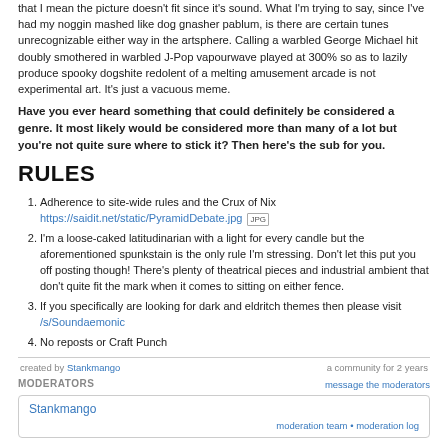that I mean the picture doesn't fit since it's sound. What I'm trying to say, since I've had my noggin mashed like dog gnasher pablum, is there are certain tunes unrecognizable either way in the artsphere. Calling a warbled George Michael hit doubly smothered in warbled J-Pop vapourwave played at 300% so as to lazily produce spooky dogshite redolent of a melting amusement arcade is not experimental art. It's just a vacuous meme.
Have you ever heard something that could definitely be considered a genre. It most likely would be considered more than many of a lot but you're not quite sure where to stick it? Then here's the sub for you.
RULES
Adherence to site-wide rules and the Crux of Nix https://saidit.net/static/PyramidDebate.jpg [JPG]
I'm a loose-caked latitudinarian with a light for every candle but the aforementioned spunkstain is the only rule I'm stressing. Don't let this put you off posting though! There's plenty of theatrical pieces and industrial ambient that don't quite fit the mark when it comes to sitting on either fence.
If you specifically are looking for dark and eldritch themes then please visit /s/Soundaemonic
No reposts or Craft Punch
created by Stankmango | a community for 2 years
MODERATORS | message the moderators
Stankmango | moderation team • moderation log